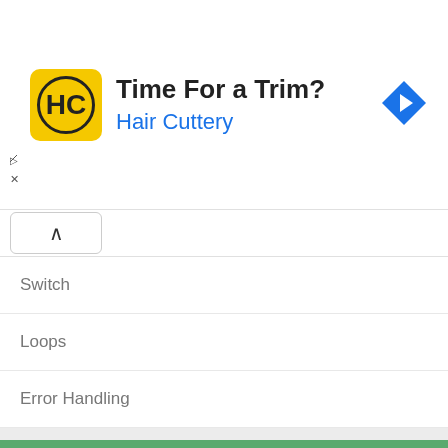[Figure (screenshot): Advertisement banner for Hair Cuttery with logo, tagline 'Time For a Trim?' and brand name in blue]
Switch
Loops
Error Handling
Cheatsheet: Class
Class
Interface
Cheatsheet